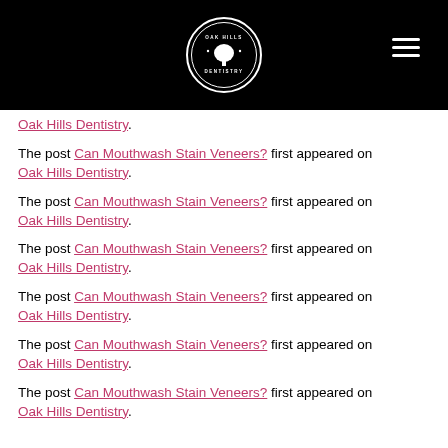[Figure (logo): Oak Hills Dentistry circular logo on black header bar with hamburger menu icon on the right]
Oak Hills Dentistry.
The post Can Mouthwash Stain Veneers? first appeared on Oak Hills Dentistry.
The post Can Mouthwash Stain Veneers? first appeared on Oak Hills Dentistry.
The post Can Mouthwash Stain Veneers? first appeared on Oak Hills Dentistry.
The post Can Mouthwash Stain Veneers? first appeared on Oak Hills Dentistry.
The post Can Mouthwash Stain Veneers? first appeared on Oak Hills Dentistry.
The post Can Mouthwash Stain Veneers? first appeared on Oak Hills Dentistry.